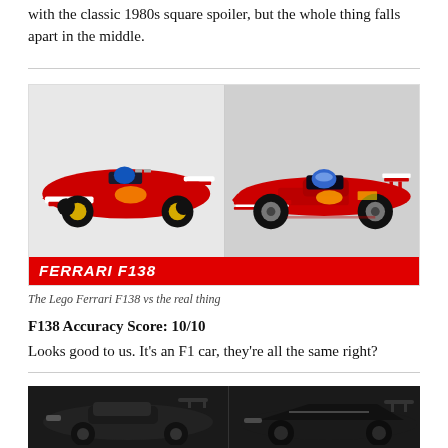with the classic 1980s square spoiler, but the whole thing falls apart in the middle.
[Figure (photo): Side-by-side comparison of Lego Ferrari F138 (left) and the real Ferrari F138 Formula 1 car (right), with a red banner at the bottom reading FERRARI F138]
The Lego Ferrari F138 vs the real thing
F138 Accuracy Score: 10/10
Looks good to us. It's an F1 car, they're all the same right?
[Figure (photo): Side-by-side comparison of a dark/black Lego car (left) and a real dark sports car (right)]